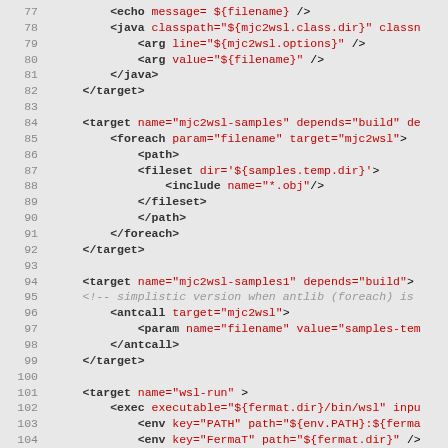[Figure (screenshot): Source code listing showing XML/Ant build file content, lines 77-109, with line numbers on the left in gray and XML tags in black bold with string attribute values in red.]